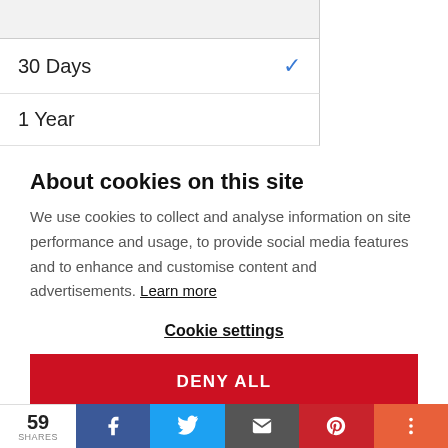30 Days
1 Year
About cookies on this site
We use cookies to collect and analyse information on site performance and usage, to provide social media features and to enhance and customise content and advertisements. Learn more
Cookie settings
DENY ALL
ALLOW ALL COOKIES
59 SHARES